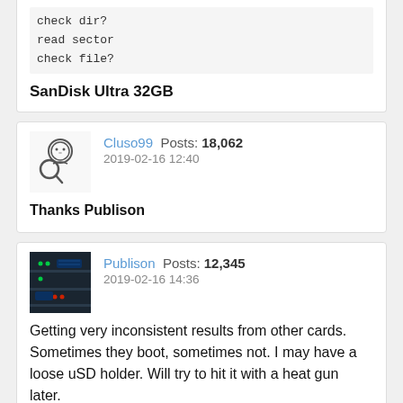check dir?
read sector
check file?
SanDisk Ultra 32GB
Cluso99  Posts: 18,062
2019-02-16 12:40
Thanks Publison
[Figure (photo): Avatar photo of user Publison showing a dark electronics/computer setup]
Publison  Posts: 12,345
2019-02-16 14:36
Getting very inconsistent results from other cards. Sometimes they boot, sometimes not. I may have a loose uSD holder. Will try to hit it with a heat gun later.